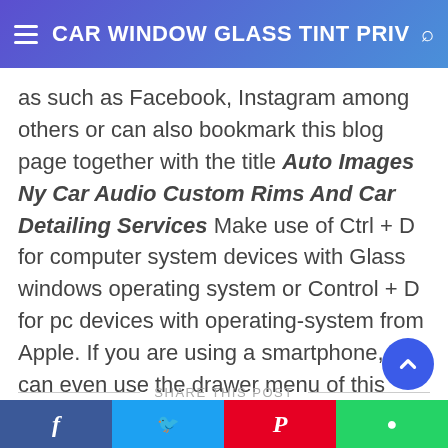CAR WINDOW GLASS TINT PRIV
as such as Facebook, Instagram among others or can also bookmark this blog page together with the title Auto Images Ny Car Audio Custom Rims And Car Detailing Services Make use of Ctrl + D for computer system devices with Glass windows operating system or Control + D for pc devices with operating-system from Apple. If you are using a smartphone, you can even use the drawer menu of this browser you use. Whether its a Windows, Macintosh personal computer, iOs or Android os operating system, you'll still be in a position to download images using the download button.
SHARE THIS POST